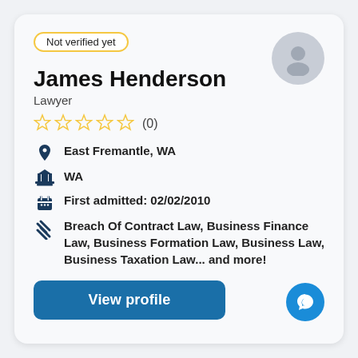Not verified yet
[Figure (illustration): Circular grey avatar placeholder with person silhouette icon]
James Henderson
Lawyer
☆☆☆☆☆ (0)
East Fremantle, WA
WA
First admitted: 02/02/2010
Breach Of Contract Law, Business Finance Law, Business Formation Law, Business Law, Business Taxation Law... and more!
View profile